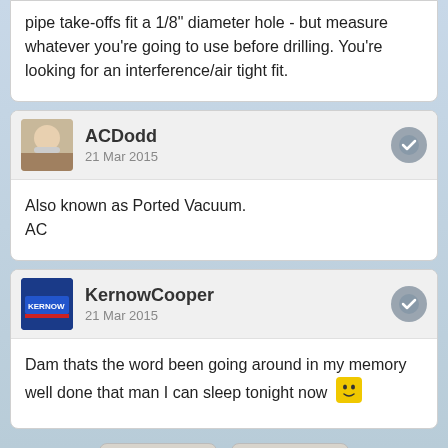pipe take-offs fit a 1/8" diameter hole - but measure whatever you're going to use before drilling. You're looking for an interference/air tight fit.
ACDodd
21 Mar 2015
Also known as Ported Vacuum.
AC
KernowCooper
21 Mar 2015
Dam thats the word been going around in my memory well done that man I can sleep tonight now 😊
Share [Facebook] | Share [Twitter]
Full Version